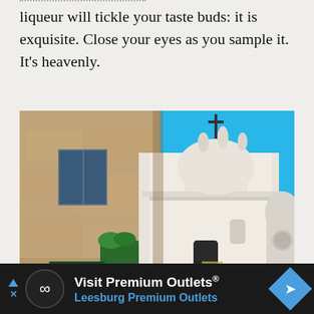liqueur will tickle your taste buds: it is exquisite. Close your eyes as you sample it. It's heavenly.
[Figure (photo): Street scene showing a narrow alley with an old stone building on the left with blue-shuttered windows and a wrought iron sign bracket, and a white baroque church facade on the right under a bright blue sky, with birds/statues on top of the church.]
Visit Premium Outlets® Leesburg Premium Outlets